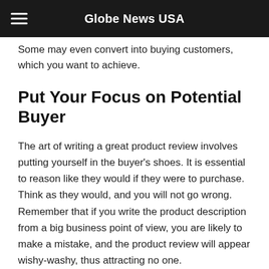Globe News USA
Some may even convert into buying customers, which you want to achieve.
Put Your Focus on Potential Buyer
The art of writing a great product review involves putting yourself in the buyer's shoes. It is essential to reason like they would if they were to purchase. Think as they would, and you will not go wrong. Remember that if you write the product description from a big business point of view, you are likely to make a mistake, and the product review will appear wishy-washy, thus attracting no one.
Always address your audience directly and personally. Let